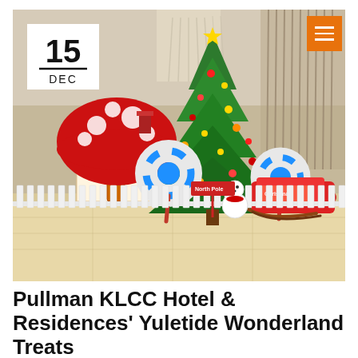[Figure (photo): Hotel lobby decorated for Christmas with a large Christmas tree, giant mushroom-shaped candy house, colorful lollipops, Santa's sleigh, white picket fence, and snowman. A date badge shows '15 DEC' in the upper left corner of the photo.]
Pullman KLCC Hotel & Residences' Yuletide Wonderland Treats